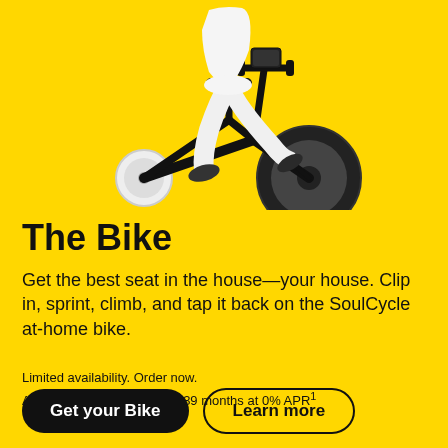[Figure (photo): Person riding a black SoulCycle stationary exercise bike, wearing white leggings and black shoes, photographed from the waist down on a yellow background.]
The Bike
Get the best seat in the house—your house. Clip in, sprint, climb, and tap it back on the SoulCycle at-home bike.
Limited availability. Order now.
As low as $58.76/month for 39 months at 0% APR¹
Get your Bike
Learn more